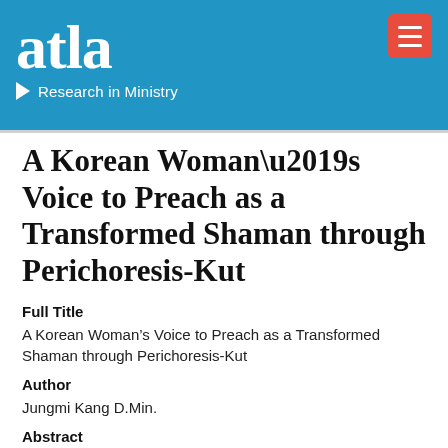[Figure (logo): Atla Research in Ministry logo on blue background with hamburger menu button]
A Korean Woman’s Voice to Preach as a Transformed Shaman through Perichoresis-Kut
Full Title
A Korean Woman’s Voice to Preach as a Transformed Shaman through Perichoresis-Kut
Author
Jungmi Kang D.Min.
Abstract
The author researched the thesis, “A Korean Woman’s